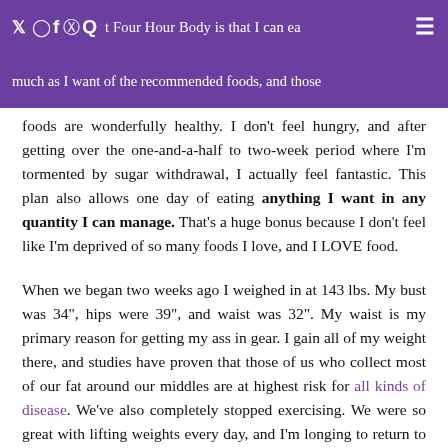e g uk b t Four Hour Body is that I can eat much as I want of the recommended foods, and those
foods are wonderfully healthy. I don't feel hungry, and after getting over the one-and-a-half to two-week period where I'm tormented by sugar withdrawal, I actually feel fantastic. This plan also allows one day of eating anything I want in any quantity I can manage. That's a huge bonus because I don't feel like I'm deprived of so many foods I love, and I LOVE food.
When we began two weeks ago I weighed in at 143 lbs. My bust was 34", hips were 39", and waist was 32". My waist is my primary reason for getting my ass in gear. I gain all of my weight there, and studies have proven that those of us who collect most of our fat around our middles are at highest risk for all kinds of disease. We've also completely stopped exercising. We were so great with lifting weights every day, and I'm longing to return to this when poor